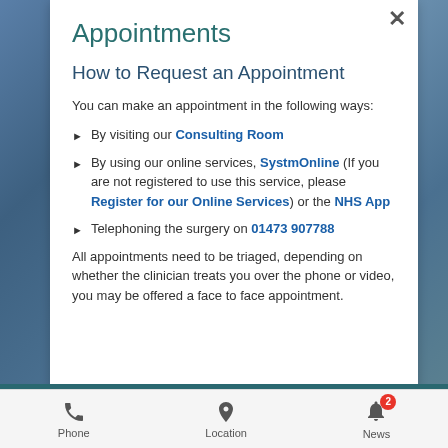Appointments
How to Request an Appointment
You can make an appointment in the following ways:
By visiting our Consulting Room
By using our online services, SystmOnline (If you are not registered to use this service, please Register for our Online Services) or the NHS App
Telephoning the surgery on 01473 907788
All appointments need to be triaged, depending on whether the clinician treats you over the phone or video, you may be offered a face to face appointment.
Phone  Location  News